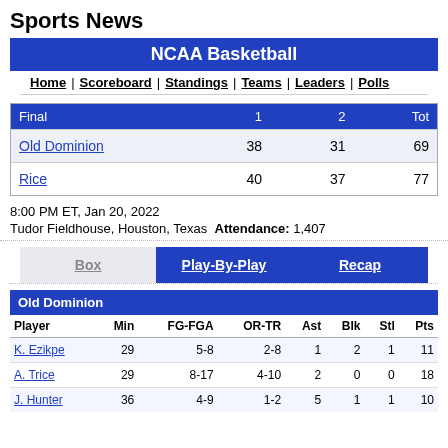Sports News
NCAA Basketball
Home | Scoreboard | Standings | Teams | Leaders | Polls
| Final | 1 | 2 | Tot |
| --- | --- | --- | --- |
| Old Dominion | 38 | 31 | 69 |
| Rice | 40 | 37 | 77 |
8:00 PM ET, Jan 20, 2022
Tudor Fieldhouse, Houston, Texas  Attendance: 1,407
Box | Play-By-Play | Recap
| Player | Min | FG-FGA | OR-TR | Ast | Blk | Stl | Pts |
| --- | --- | --- | --- | --- | --- | --- | --- |
| K. Ezikpe | 29 | 5-8 | 2-8 | 1 | 2 | 1 | 11 |
| A. Trice | 29 | 8-17 | 4-10 | 2 | 0 | 0 | 18 |
| J. Hunter | 36 | 4-9 | 1-2 | 5 | 1 | 1 | 10 |